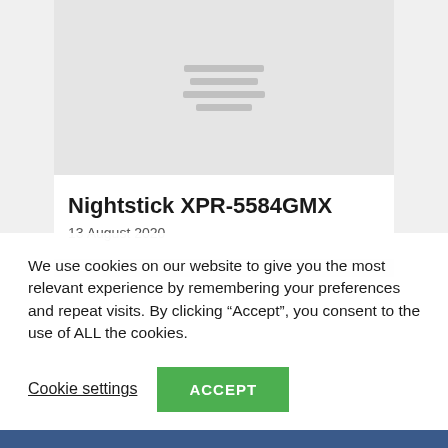[Figure (screenshot): A webpage screenshot showing a card with a light gray image placeholder (with four horizontal gray lines in the center), a bold title 'Nightstick XPR-5584GMX', and a date '13 August 2020'. Below the card content is a light gray bar. The background is light gray.]
Nightstick XPR-5584GMX
13 August 2020
We use cookies on our website to give you the most relevant experience by remembering your preferences and repeat visits. By clicking “Accept”, you consent to the use of ALL the cookies.
Cookie settings
ACCEPT